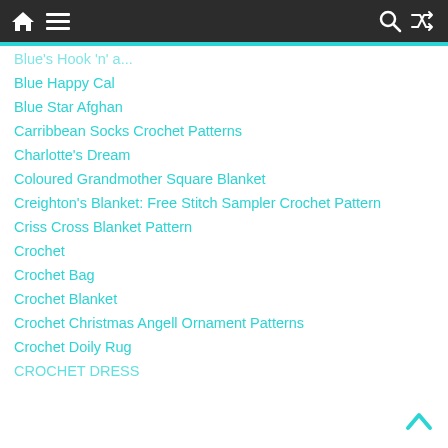Navigation bar with home, menu, search, and shuffle icons
Blue's Hook 'n' a (partial/cut off)
Blue Happy Cal
Blue Star Afghan
Carribbean Socks Crochet Patterns
Charlotte's Dream
Coloured Grandmother Square Blanket
Creighton's Blanket: Free Stitch Sampler Crochet Pattern
Criss Cross Blanket Pattern
Crochet
Crochet Bag
Crochet Blanket
Crochet Christmas Angell Ornament Patterns
Crochet Doily Rug
CROCHET DRESS